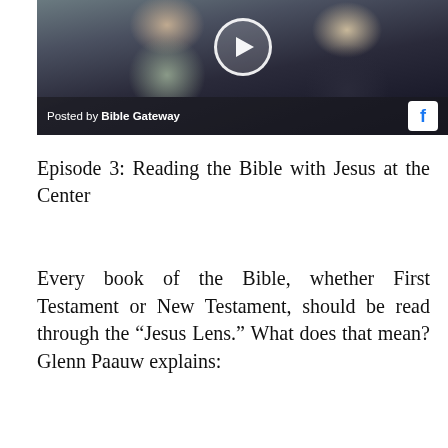[Figure (screenshot): Facebook video thumbnail showing two people sitting together, with a play button circle in the center. Bottom bar shows 'Posted by Bible Gateway' and a Facebook icon.]
Posted by Bible Gateway
Episode 3: Reading the Bible with Jesus at the Center
Every book of the Bible, whether First Testament or New Testament, should be read through the “Jesus Lens.” What does that mean? Glenn Paauw explains: